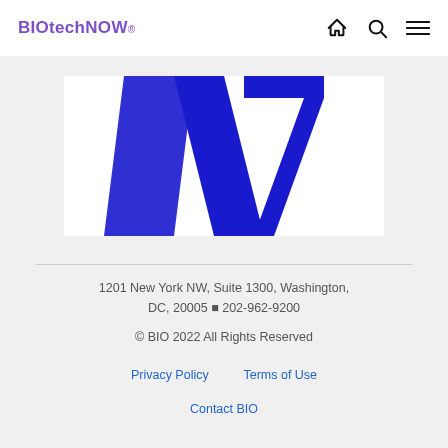BIOtechNOW
[Figure (logo): Partial blue logo/graphic — large blue shapes (arrow/chevron and numeral 7) on white background, cropped at top]
1201 New York NW, Suite 1300, Washington, DC, 20005 · 202-962-9200
© BIO 2022 All Rights Reserved
Privacy Policy   Terms of Use
Contact BIO